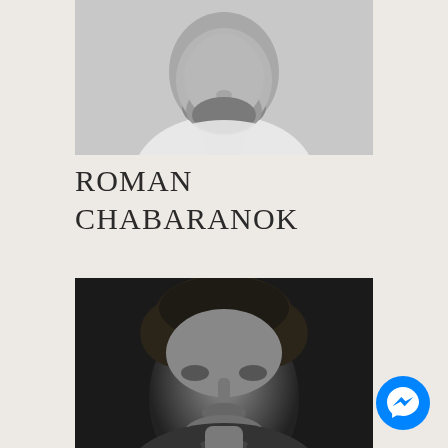[Figure (photo): Black and white portrait photo of Roman Chabaranok, a man with a beard wearing a white shirt, cropped at chest level]
ROMAN CHABARANOK
[Figure (photo): Black and white portrait photo of a second person, a man with dark hair, shown from shoulders up]
[Figure (other): Facebook Messenger blue circle icon badge in bottom right corner]